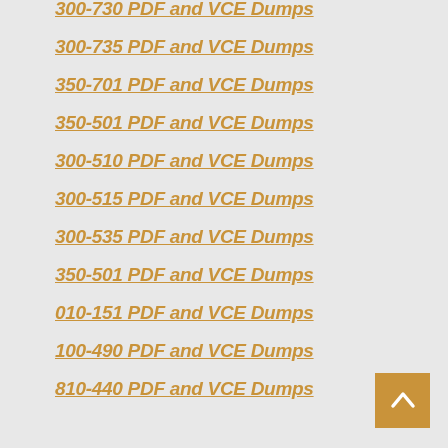300-730 PDF and VCE Dumps
300-735 PDF and VCE Dumps
350-701 PDF and VCE Dumps
350-501 PDF and VCE Dumps
300-510 PDF and VCE Dumps
300-515 PDF and VCE Dumps
300-535 PDF and VCE Dumps
350-501 PDF and VCE Dumps
010-151 PDF and VCE Dumps
100-490 PDF and VCE Dumps
810-440 PDF and VCE Dumps